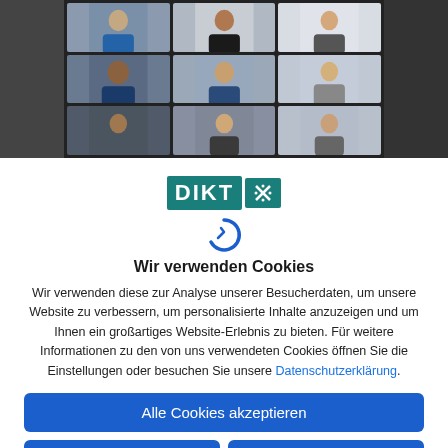[Figure (screenshot): Video conference grid showing 9 participants in a video call, displayed on a monitor/screen against a dark background]
[Figure (logo): DIKTX logo with teal/green background boxes]
[Figure (logo): Cookiebot icon - blue circular arrow C logo]
Wir verwenden Cookies
Wir verwenden diese zur Analyse unserer Besucherdaten, um unsere Website zu verbessern, um personalisierte Inhalte anzuzeigen und um Ihnen ein großartiges Website-Erlebnis zu bieten. Für weitere Informationen zu den von uns verwendeten Cookies öffnen Sie die Einstellungen oder besuchen Sie unsere Datenschutzerklärung.
Alle Cookies akzeptieren
Nur funktionale Cookies
Individuelle Einstellungen